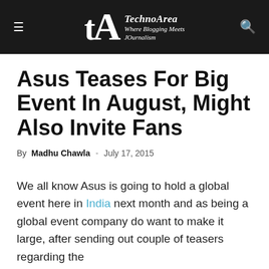TechnoArea — Where Blogging Meets JOurnalism
Asus Teases For Big Event In August, Might Also Invite Fans
By Madhu Chawla - July 17, 2015
We all know Asus is going to hold a global event here in India next month and as being a global event company do want to make it large, after sending out couple of teasers regarding the